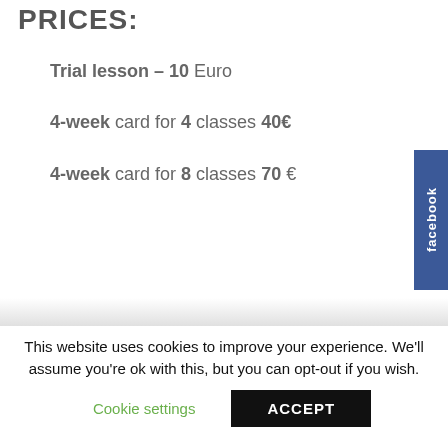PRICES:
Trial lesson – 10 Euro
4-week card for 4 classes 40€
4-week card for 8 classes 70 €
This website uses cookies to improve your experience. We'll assume you're ok with this, but you can opt-out if you wish.
Cookie settings
ACCEPT